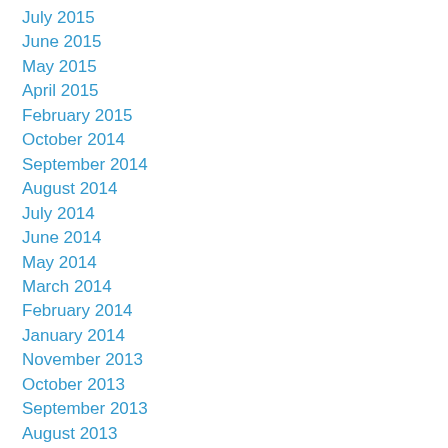July 2015
June 2015
May 2015
April 2015
February 2015
October 2014
September 2014
August 2014
July 2014
June 2014
May 2014
March 2014
February 2014
January 2014
November 2013
October 2013
September 2013
August 2013
June 2013
March 2013
February 2013